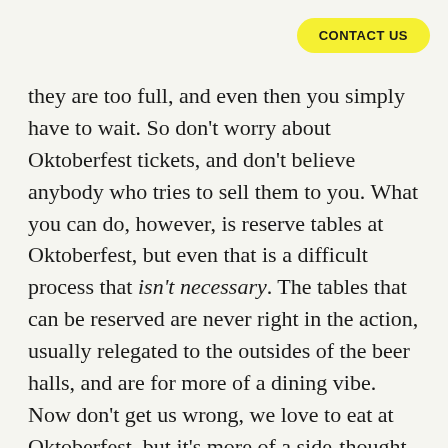CONTACT US
they are too full, and even then you simply have to wait. So don't worry about Oktoberfest tickets, and don't believe anybody who tries to sell them to you. What you can do, however, is reserve tables at Oktoberfest, but even that is a difficult process that isn't necessary. The tables that can be reserved are never right in the action, usually relegated to the outsides of the beer halls, and are for more of a dining vibe. Now don't get us wrong, we love to eat at Oktoberfest, but it's more of a side-thought to the drinking and the dancing and the socialising. For the two decades that we've been attending Oktoberfest we've never reserved a table, but instead just choose our times well, and almost always secure a table for ourselves right in the action, next to the dancing bands. If you do want to reserve a table, however, here are the direct